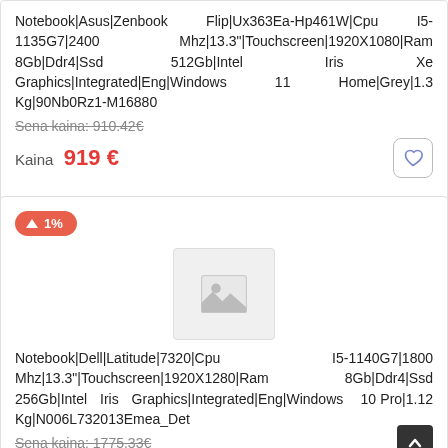Notebook|Asus|Zenbook Flip|Ux363Ea-Hp461W|Cpu I5-1135G7|2400 Mhz|13.3"|Touchscreen|1920X1080|Ram 8Gb|Ddr4|Ssd 512Gb|Intel Iris Xe Graphics|Integrated|Eng|Windows 11 Home|Grey|1.3 Kg|90Nb0Rz1-M16880
Sena kaina: 910.42€
Kaina 919 €
[Figure (other): Price increase badge showing 1% with upward arrow]
[Figure (photo): No image placeholder for Dell Latitude 7320 notebook]
Notebook|Dell|Latitude|7320|Cpu I5-1140G7|1800 Mhz|13.3"|Touchscreen|1920X1280|Ram 8Gb|Ddr4|Ssd 256Gb|Intel Iris Graphics|Integrated|Eng|Windows 10 Pro|1.12 Kg|N006L732013Emea_Det
Sena kaina: 1775.33€
Kaina 1775.36 €